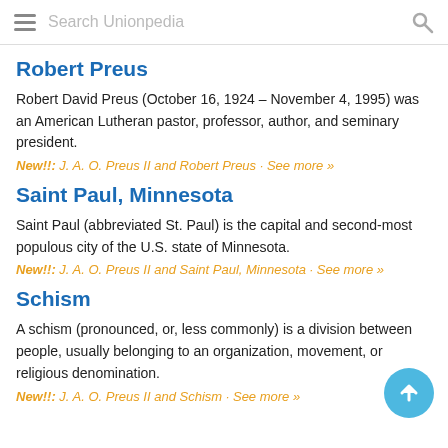Search Unionpedia
Robert Preus
Robert David Preus (October 16, 1924 – November 4, 1995) was an American Lutheran pastor, professor, author, and seminary president.
New!!: J. A. O. Preus II and Robert Preus · See more »
Saint Paul, Minnesota
Saint Paul (abbreviated St. Paul) is the capital and second-most populous city of the U.S. state of Minnesota.
New!!: J. A. O. Preus II and Saint Paul, Minnesota · See more »
Schism
A schism (pronounced, or, less commonly) is a division between people, usually belonging to an organization, movement, or religious denomination.
New!!: J. A. O. Preus II and Schism · See more »